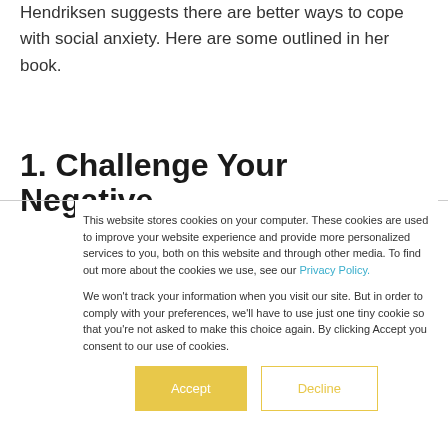Hendriksen suggests there are better ways to cope with social anxiety. Here are some outlined in her book.
1. Challenge Your Negative
This website stores cookies on your computer. These cookies are used to improve your website experience and provide more personalized services to you, both on this website and through other media. To find out more about the cookies we use, see our Privacy Policy.
We won't track your information when you visit our site. But in order to comply with your preferences, we'll have to use just one tiny cookie so that you're not asked to make this choice again. By clicking Accept you consent to our use of cookies.